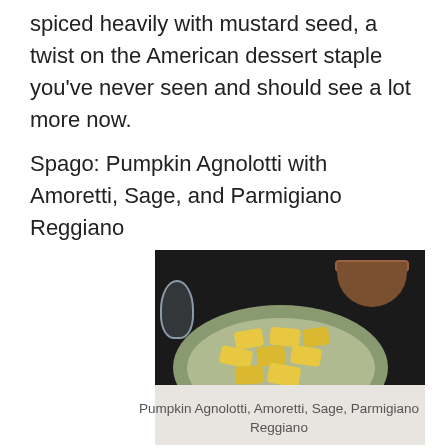spiced heavily with mustard seed, a twist on the American dessert staple you've never seen and should see a lot more now.
Spago: Pumpkin Agnolotti with Amoretti, Sage, and Parmigiano Reggiano
[Figure (photo): A plate of pumpkin agnolotti pasta on a green oval plate, with a bread bowl in the background, on a white tablecloth.]
Pumpkin Agnolotti, Amoretti, Sage, Parmigiano Reggiano